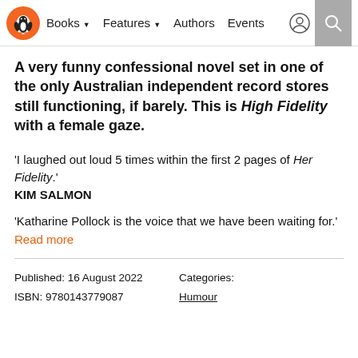Books | Features | Authors | Events
A very funny confessional novel set in one of the only Australian independent record stores still functioning, if barely. This is High Fidelity with a female gaze.
'I laughed out loud 5 times within the first 2 pages of Her Fidelity.'
KIM SALMON
'Katharine Pollock is the voice that we have been waiting for.'
Read more
Published: 16 August 2022
ISBN: 9780143779087
Categories:
Humour